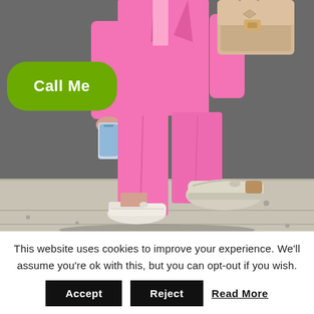[Figure (photo): A person wearing a bright pink suit (blazer and trousers) walking on a sidewalk, holding a smartphone and carrying a beige/tan structured handbag over their shoulder. They are wearing white sneakers. Background is a dark grey wall. A green rounded button overlays the image with text 'Call Me'.]
This website uses cookies to improve your experience. We'll assume you're ok with this, but you can opt-out if you wish.
Accept   Reject   Read More